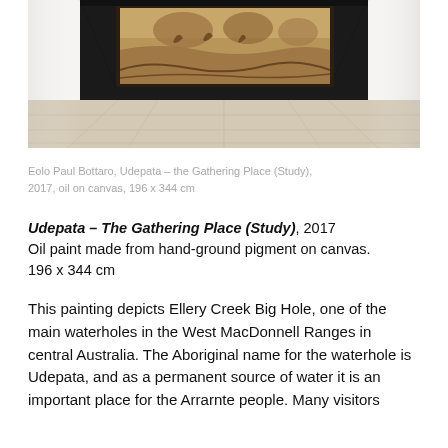[Figure (photo): Gallery installation photo showing a large painting mounted on a black wall in a gallery space. The painting features brown/sepia toned imagery of a landscape with figures. The gallery has light marble-tiled flooring visible in the foreground.]
Eolo Paul Bottaro, Udepata – the Gathering Place (Study), 2017, oil on canvas, 196 x 344 cm
Udepata – The Gathering Place (Study), 2017
Oil paint made from hand-ground pigment on canvas.
196 x 344 cm
This painting depicts Ellery Creek Big Hole, one of the main waterholes in the West MacDonnell Ranges in central Australia. The Aboriginal name for the waterhole is Udepata, and as a permanent source of water it is an important place for the Arrarnte people. Many visitors